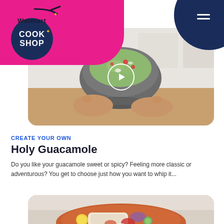[Figure (logo): Walmart Cook Shop logo — pink background with dark circle containing pan and text COOK SHOP]
[Figure (photo): Video thumbnail showing a molcajete (stone mortar and pestle) being held by hands, filled with guacamole, with a circular play button overlay]
CREATE YOUR OWN
Holy Guacamole
Do you like your guacamole sweet or spicy? Feeling more classic or adventurous? You get to choose just how you want to whip it...
[Figure (photo): Partial view of an orange/terracotta bowl with food items including what appears to be a wrap or burrito with colorful vegetables, lemon, and garnishes. A play button circle is partially visible at the bottom.]